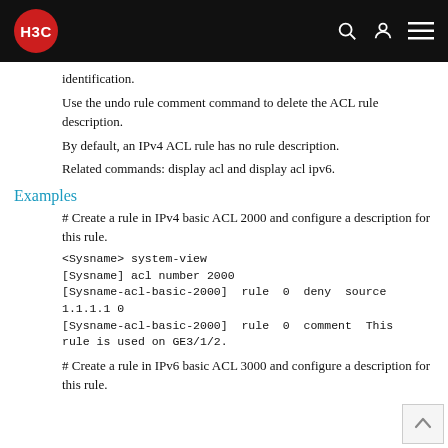H3C
identification.
Use the undo rule comment command to delete the ACL rule description.
By default, an IPv4 ACL rule has no rule description.
Related commands: display acl and display acl ipv6.
Examples
# Create a rule in IPv4 basic ACL 2000 and configure a description for this rule.
<Sysname> system-view
[Sysname] acl number 2000
[Sysname-acl-basic-2000]  rule  0  deny  source
1.1.1.1 0
[Sysname-acl-basic-2000]  rule  0  comment  This
rule is used on GE3/1/2.
# Create a rule in IPv6 basic ACL 3000 and configure a description for this rule.